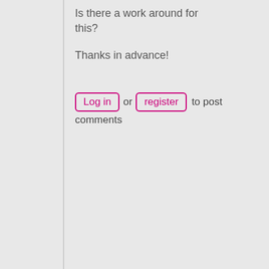Is there a work around for this?
Thanks in advance!
Log in or register to post comments
[Figure (other): User avatar placeholder image for BV52]
BV52
Wed, 02/20/2019 - 09:06
permalink
Hi Stafford,I'm sorry I'm not
Hi Stafford,
I'm sorry I'm not following you. Do you mean that the